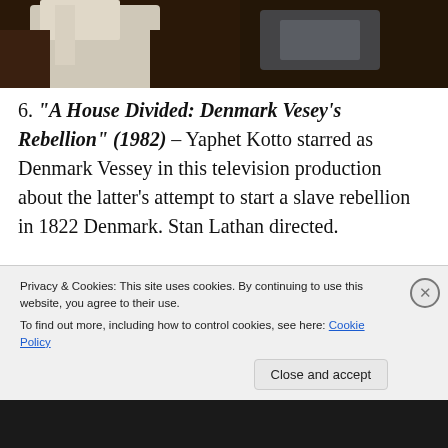[Figure (photo): Top portion of a photo showing a person with a collar/shirt visible, dark background]
6. “A House Divided: Denmark Vesey’s Rebellion” (1982) – Yaphet Kotto starred as Denmark Vessey in this television production about the latter’s attempt to start a slave rebellion in 1822 Denmark. Stan Lathan directed.
[Figure (photo): Advertisement image showing a person in an orange/brown sweater using a phone, with a 'Let's get started' button overlay]
Privacy & Cookies: This site uses cookies. By continuing to use this website, you agree to their use.
To find out more, including how to control cookies, see here: Cookie Policy
Close and accept